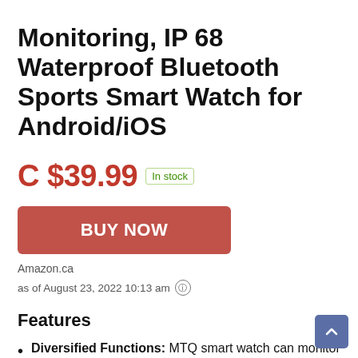Monitoring, IP 68 Waterproof Bluetooth Sports Smart Watch for Android/iOS
C $39.99  In stock
BUY NOW
Amazon.ca
as of August 23, 2022 10:13 am
Features
Diversified Functions: MTQ smart watch can monitor your health status at any time. It has a function for 24-hour heart rate monitoring, it can also measure your blood pressure and blood oxygen saturation. Sleep logs, weather messages and information notifications can be synchronized by connecting to the downloaded application